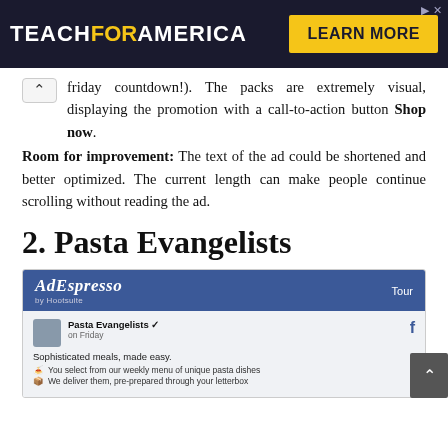[Figure (screenshot): Teach For America advertisement banner with dark navy background. Left side shows 'TEACHFORAMERICA' logo in white and yellow bold text. Right side shows a yellow 'LEARN MORE' button. Top right has small close/skip icons.]
friday countdown!). The packs are extremely visual, displaying the promotion with a call-to-action button Shop now.
Room for improvement: The text of the ad could be shortened and better optimized. The current length can make people continue scrolling without reading the ad.
2. Pasta Evangelists
[Figure (screenshot): AdEspresso by Hootsuite interface screenshot showing a Facebook ad preview for Pasta Evangelists. The header is blue with the AdEspresso logo and a 'Tour' link. Below is a Facebook post preview showing the Pasta Evangelists page name, 'on Friday' label, tagline 'Sophisticated meals, made easy.' and two bullet points about selecting from weekly menu and delivery.]